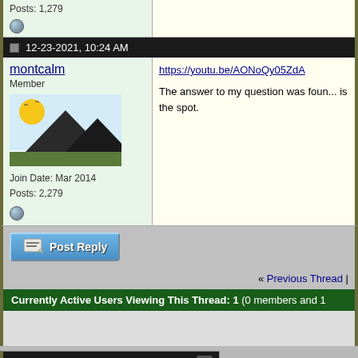Posts: 1,279
12-23-2021, 10:24 AM
montcalm
Member
Join Date: Mar 2014
Posts: 2,279
https://youtu.be/AONoQy05ZdA

The answer to my question was found is the spot.
Post Reply
« Previous Thread |
Currently Active Users Viewing This Thread: 1 (0 members and 1
Posting Rules
You may not post new threads
You may not post replies